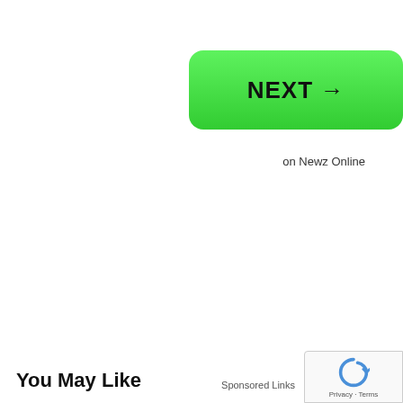[Figure (other): Green rounded button with bold text NEXT and right arrow]
on Newz Online
You May Like
Sponsored Links
[Figure (other): reCAPTCHA badge with Privacy and Terms text]